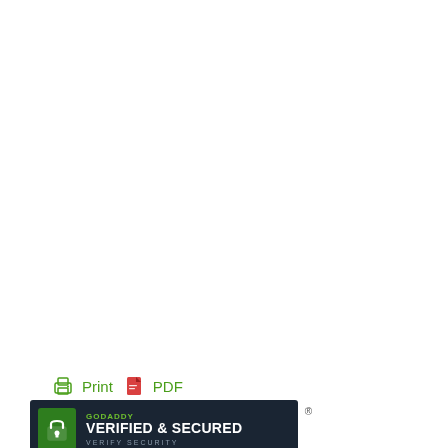[Figure (logo): Print and PDF buttons with printer and document icons in green]
[Figure (logo): GoDaddy Verified & Secured security badge with lock icon on dark background]